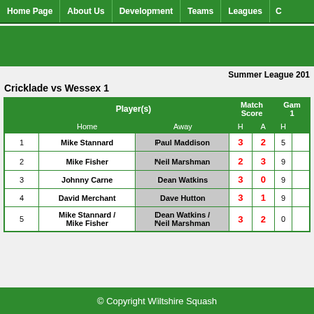Home Page | About Us | Development | Teams | Leagues
Summer League 201
Cricklade vs Wessex 1
| String | Home | Away | H | A | H |
| --- | --- | --- | --- | --- | --- |
| 1 | Mike Stannard | Paul Maddison | 3 | 2 | 5 |
| 2 | Mike Fisher | Neil Marshman | 2 | 3 | 9 |
| 3 | Johnny Carne | Dean Watkins | 3 | 0 | 9 |
| 4 | David Merchant | Dave Hutton | 3 | 1 | 9 |
| 5 | Mike Stannard / Mike Fisher | Dean Watkins / Neil Marshman | 3 | 2 | 0 |
© Copyright Wiltshire Squash